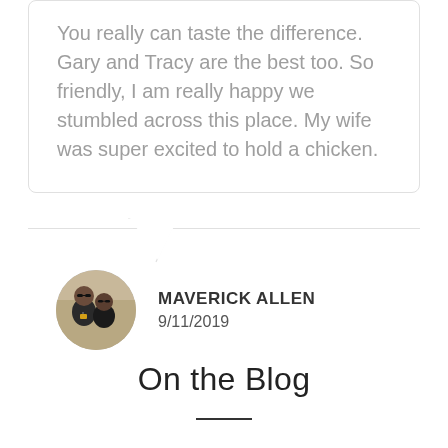You really can taste the difference.
Gary and Tracy are the best too. So friendly, I am really happy we stumbled across this place. My wife was super excited to hold a chicken.
MAVERICK ALLEN
9/11/2019
On the Blog